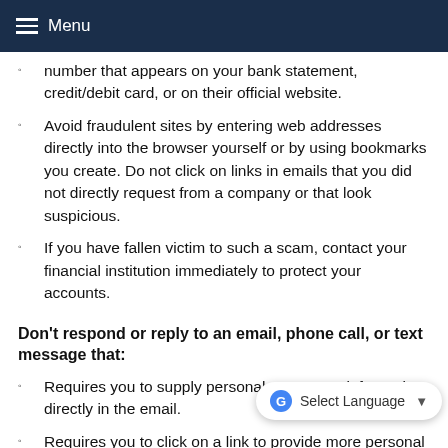Menu
number that appears on your bank statement, credit/debit card, or on their official website.
Avoid fraudulent sites by entering web addresses directly into the browser yourself or by using bookmarks you create. Do not click on links in emails that you did not directly request from a company or that look suspicious.
If you have fallen victim to such a scam, contact your financial institution immediately to protect your accounts.
Don't respond or reply to an email, phone call, or text message that:
Requires you to supply personal or account information directly in the email.
Requires you to click on a link to provide more personal or account informati…
Threatens to close or suspend your account if you